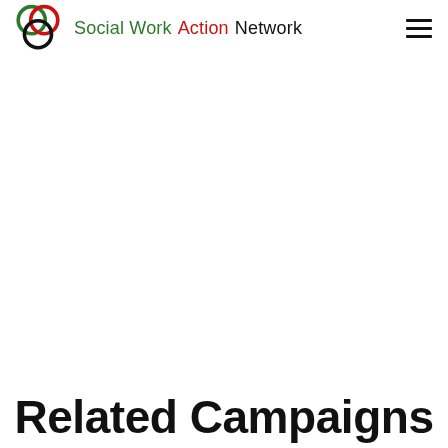Social Work Action Network
Related Campaigns